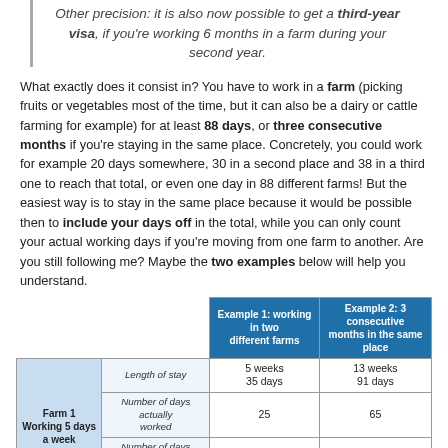Other precision: it is also now possible to get a third-year visa, if you're working 6 months in a farm during your second year.
What exactly does it consist in? You have to work in a farm (picking fruits or vegetables most of the time, but it can also be a dairy or cattle farming for example) for at least 88 days, or three consecutive months if you're staying in the same place. Concretely, you could work for example 20 days somewhere, 30 in a second place and 38 in a third one to reach that total, or even one day in 88 different farms! But the easiest way is to stay in the same place because it would be possible then to include your days off in the total, while you can only count your actual working days if you're moving from one farm to another. Are you still following me? Maybe the two examples below will help you understand.
|  |  | Example 1: working in two different farms | Example 2: 3 consecutive months in the same place |
| --- | --- | --- | --- |
| Farm 1
Working 5 days a week | Length of stay | 5 weeks
35 days | 13 weeks
91 days |
| Farm 1
Working 5 days a week | Number of days actually worked | 25 | 65 |
| Farm 1
Working 5 days a week | Number of days counting for the second-year visa | 25 | 91 |
| Farm 2
Working 6 days a week | Length of stay | 11 weeks
77 days | x |
| Farm 2
Working 6 days a week | Number of days actually worked | 66 | x |
| Farm 2
Working 6 days a week | Number of days counting |  |  |